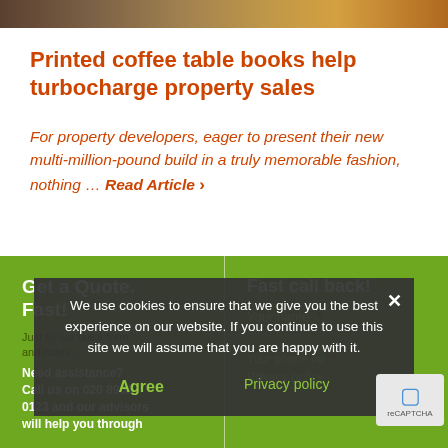[Figure (photo): Partial top banner image showing a coffee table book or property-related photo in warm brown and orange tones]
Printed coffee table books help turbocharge property sales
For property developers, eager to present their new multi-million-pound build in a truly memorable fashion, nothing … Read Article ›
Get a Quote. Fast!
Fast call back!
Just fill our quick form and notes... Need assistance? Call us on 020 8962 0123 and our advisors will help you through
Your name  *
We use cookies to ensure that we give you the best experience on our website. If you continue to use this site we will assume that you are happy with it.
Agree
Your phone no  *  Privacy policy